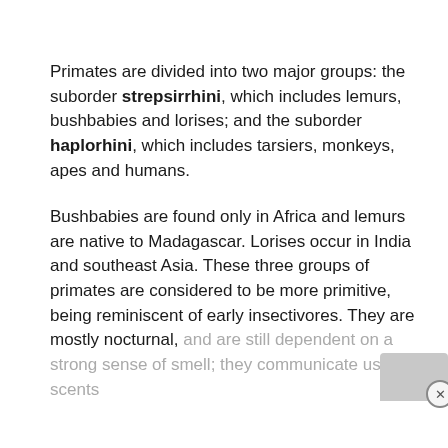Primates are divided into two major groups: the suborder strepsirrhini, which includes lemurs, bushbabies and lorises; and the suborder haplorhini, which includes tarsiers, monkeys, apes and humans.
Bushbabies are found only in Africa and lemurs are native to Madagascar. Lorises occur in India and southeast Asia. These three groups of primates are considered to be more primitive, being reminiscent of early insectivores. They are mostly nocturnal, and are still dependent on a strong sense of smell; they communicate using scents